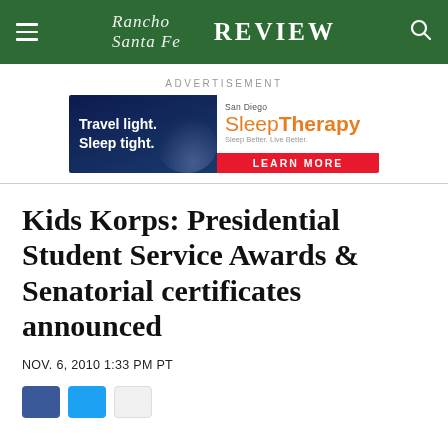Rancho Santa Fe Review
[Figure (other): Advertisement banner for San Diego Sleep Therapy: 'Travel light. Sleep tight.' with a red Learn More button]
ADVERTISEMENT
Kids Korps: Presidential Student Service Awards & Senatorial certificates announced
NOV. 6, 2010 1:33 PM PT